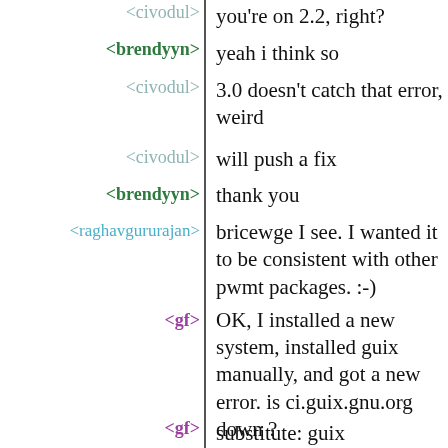<civodul> you're on 2.2, right?
<brendyyn> yeah i think so
<civodul> 3.0 doesn't catch that error, weird
<civodul> will push a fix
<brendyyn> thank you
<raghavgururajan> bricewge I see. I wanted it to be consistent with other pwmt packages. :-)
<gf> OK, I installed a new system, installed guix manually, and got a new error. is ci.guix.gnu.org down ?
<gf> substitute: guix